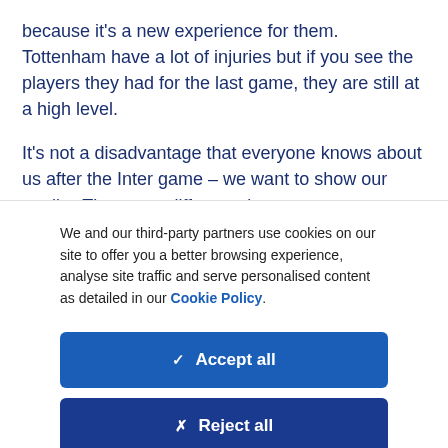because it's a new experience for them. Tottenham have a lot of injuries but if you see the players they had for the last game, they are still at a high level.
It's not a disadvantage that everyone knows about us after the Inter game – we want to show our quality. These are different circumstances as we are away this time but in
We and our third-party partners use cookies on our site to offer you a better browsing experience, analyse site traffic and serve personalised content as detailed in our Cookie Policy.
✓ Accept all
✗ Reject all
Cookie settings >